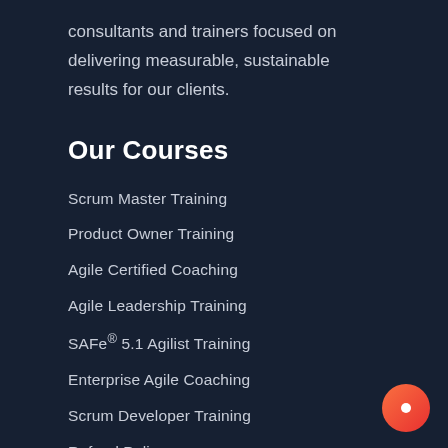consultants and trainers focused on delivering measurable, sustainable results for our clients.
Our Courses
Scrum Master Training
Product Owner Training
Agile Certified Coaching
Agile Leadership Training
SAFe® 5.1 Agilist Training
Enterprise Agile Coaching
Scrum Developer Training
Refund Policy